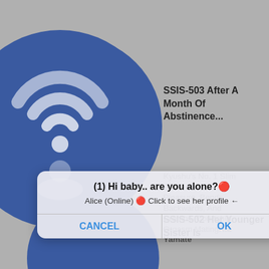[Figure (screenshot): Screenshot of a webpage with a gray background showing a blue circle with a WiFi icon, overlaid by a dialog popup saying '(1) Hi baby.. are you alone?' with Alice (Online) message and Cancel/OK buttons. To the right are video titles including 'SSIS-503 After A Month Of Abstinence...' and related text, and at the bottom 'SSIS-502 Her Younger Sister Is'.]
SSIS-503 After A Month Of Abstinence... Kyushu's No. 1 Slim Dwells With Pleasure, Bends Backwards, And Cramps. Courtship Orgasm Mating Ria Yamate
(1) Hi baby.. are you alone?
Alice (Online) 🔴 Click to see her profile ←
CANCEL  OK
SSIS-502 Her Younger Sister Is